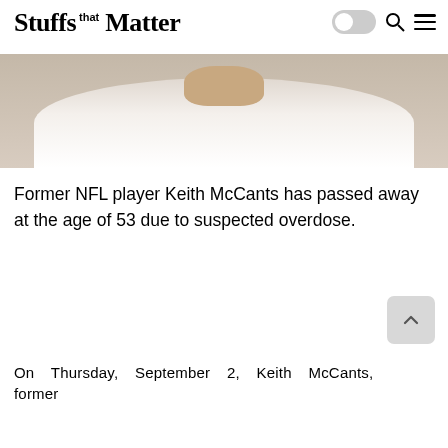Stuffs that Matter
[Figure (photo): Cropped photo of a person wearing a white shirt, showing neck and lower face area, with a light beige/tan background]
Former NFL player Keith McCants has passed away at the age of 53 due to suspected overdose.
On Thursday, September 2, Keith McCants, former